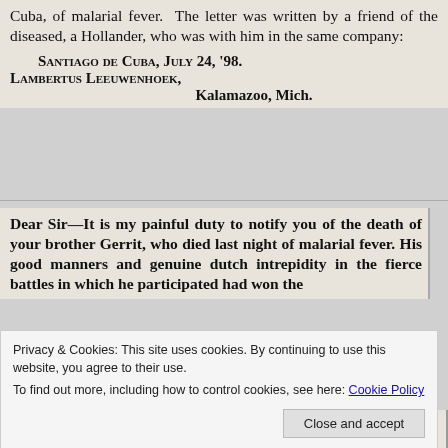Cuba, of malarial fever.  The letter was written by a friend of the diseased, a Hollander, who was with him in the same company:
Santiago de Cuba, July 24, '98. Lambertus Leeuwenhoek, Kalamazoo, Mich.
Dear Sir—It is my painful duty to notify you of the death of your brother Gerrit, who died last night of malarial fever. His good manners and genuine dutch intrepidity in the fierce battles in which he participated had won the
Privacy & Cookies: This site uses cookies. By continuing to use this website, you agree to their use.
To find out more, including how to control cookies, see here: Cookie Policy
friend and a brave soldier. We all